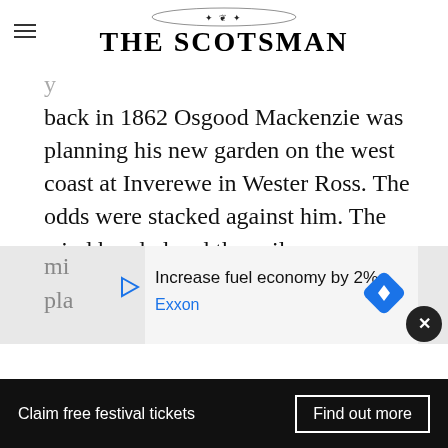[Figure (logo): The Scotsman newspaper logo with ornamental crest above the masthead text]
back in 1862 Osgood Mackenzie was planning his new garden on the west coast at Inverewe in Wester Ross. The odds were stacked against him. The wind howled and the soil was poor. Walls are good and provide ideal locations for trained fruit but trees and hedges work wonders in reducing the severity of strong winds. Mackenzie began by planting willows and then pines until eventually they created a
[Figure (screenshot): Advertisement banner: Increase fuel economy by 2% - Exxon, with play icon and blue diamond navigation icon]
Claim free festival tickets   Find out more